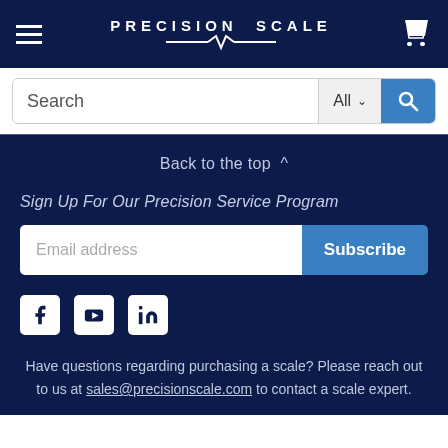[Figure (logo): Precision Scale logo with white text and a stylized heartbeat/scale line beneath it on dark navy background]
Search
Back to the top ^
Sign Up For Our Precision Service Program
Email address
Subscribe
[Figure (infographic): Social media icons: Facebook, YouTube, LinkedIn]
Have questions regarding purchasing a scale? Please reach out to us at sales@precisionscale.com to contact a scale expert.